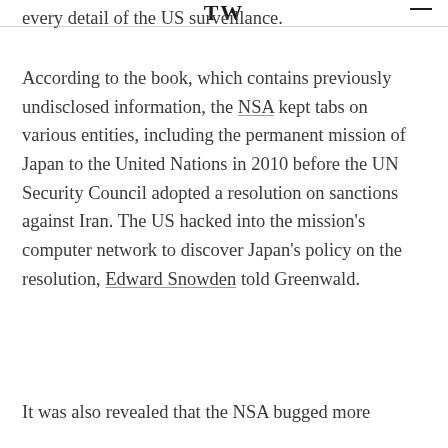TW
every detail of the US surveillance.
According to the book, which contains previously undisclosed information, the NSA kept tabs on various entities, including the permanent mission of Japan to the United Nations in 2010 before the UN Security Council adopted a resolution on sanctions against Iran. The US hacked into the mission’s computer network to discover Japan’s policy on the resolution, Edward Snowden told Greenwald.
It was also revealed that the NSA bugged more